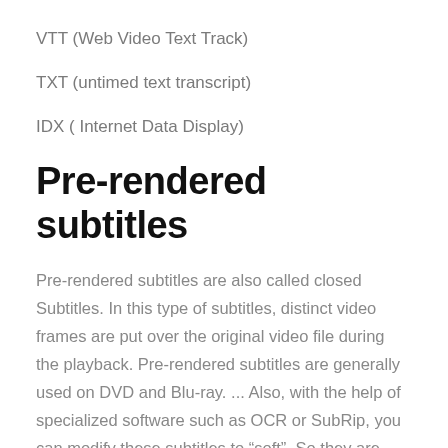VTT (Web Video Text Track)
TXT (untimed text transcript)
IDX ( Internet Data Display)
Pre-rendered subtitles
Pre-rendered subtitles are also called closed Subtitles. In this type of subtitles, distinct video frames are put over the original video file during the playback. Pre-rendered subtitles are generally used on DVD and Blu-ray. ... Also, with the help of specialized software such as OCR or SubRip, you can modify these subtitles to “soft”. So they are editable